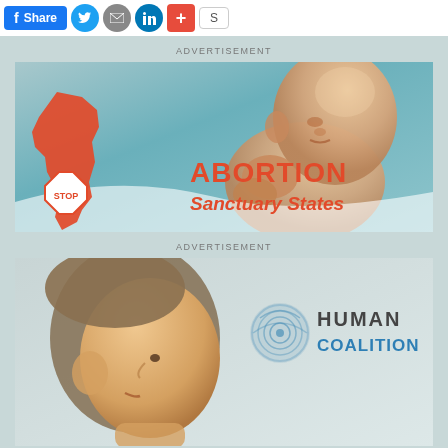[Figure (other): Social sharing toolbar with Facebook Share button, Twitter, Email, LinkedIn, Plus, and share count buttons]
ADVERTISEMENT
[Figure (illustration): Advertisement image showing a fetus illustration with a California state outline in orange-red, a STOP sign, and text reading 'ABORTION Sanctuary States']
ADVERTISEMENT
[Figure (photo): Advertisement image for Human Coalition showing a child's profile and the Human Coalition logo with fingerprint icon]